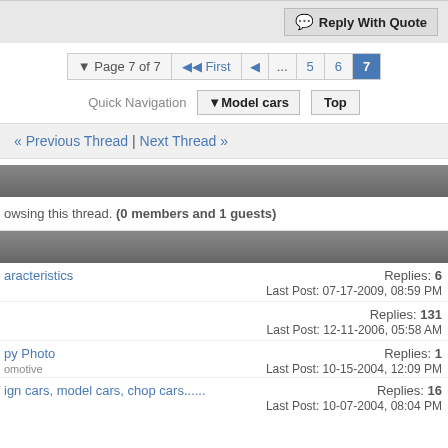Reply With Quote
Page 7 of 7  First  ...  5  6  7
Quick Navigation  Model cars  Top
« Previous Thread | Next Thread »
owsing this thread. (0 members and 1 guests)
aracteristics  Replies: 6  Last Post: 07-17-2009, 08:59 PM
Replies: 131  Last Post: 12-11-2006, 05:58 AM
py Photo  Replies: 1  Last Post: 10-15-2004, 12:09 PM
ign cars, model cars, chop cars......  Replies: 16  Last Post: 10-07-2004, 08:04 PM